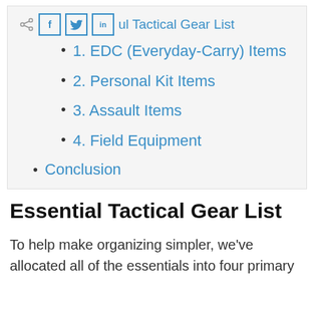ul Tactical Gear List
1. EDC (Everyday-Carry) Items
2. Personal Kit Items
3. Assault Items
4. Field Equipment
Conclusion
Essential Tactical Gear List
To help make organizing simpler, we've allocated all of the essentials into four primary